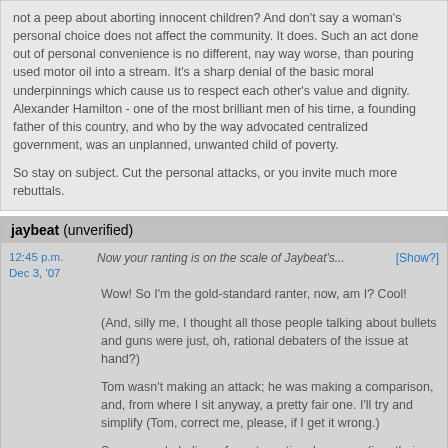not a peep about aborting innocent children? And don't say a woman's personal choice does not affect the community. It does. Such an act done out of personal convenience is no different, nay way worse, than pouring used motor oil into a stream. It's a sharp denial of the basic moral underpinnings which cause us to respect each other's value and dignity. Alexander Hamilton - one of the most brilliant men of his time, a founding father of this country, and who by the way advocated centralized government, was an unplanned, unwanted child of poverty.

So stay on subject. Cut the personal attacks, or you invite much more rebuttals.
jaybeat (unverified)
12:45 p.m. Dec 3, '07
Now your ranting is on the scale of Jaybeat's...
[Show?]
Wow! So I'm the gold-standard ranter, now, am I? Cool!

(And, silly me, I thought all those people talking about bullets and guns were just, oh, rational debaters of the issue at hand?)

Tom wasn't making an attack; he was making a comparison, and, from where I sit anyway, a pretty fair one. I'll try and simplify (Tom, correct me, please, if I get it wrong.)

Some people believe, for extra-rational reasons (i.e., their religious beliefs) that the Earth is no more than a few thousand years old, have to deny the rational consensus of scientists that fossils of prehistoric life can be reliably dated (by geologic and chemical methods) as much older than that.

Some (other) people believe, also for extra-rational reasons, statements such as "smaller, more limited government is always better." They, in turn are forced to deny the rational consensus of scientists that...